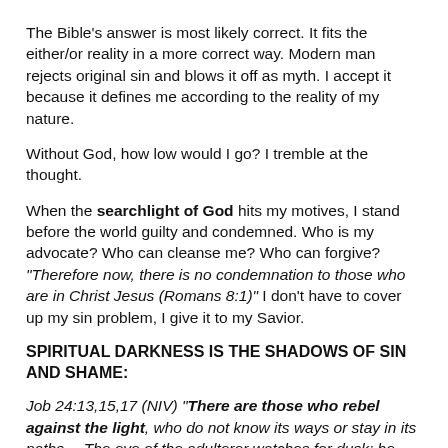The Bible's answer is most likely correct. It fits the either/or reality in a more correct way. Modern man rejects original sin and blows it off as myth. I accept it because it defines me according to the reality of my nature.
Without God, how low would I go? I tremble at the thought.
When the searchlight of God hits my motives, I stand before the world guilty and condemned. Who is my advocate? Who can cleanse me? Who can forgive? “Therefore now, there is no condemnation to those who are in Christ Jesus (Romans 8:1)” I don’t have to cover up my sin problem, I give it to my Savior.
SPIRITUAL DARKNESS IS THE SHADOWS OF SIN AND SHAME:
Job 24:13,15,17 (NIV) “There are those who rebel against the light, who do not know its ways or stay in its paths… The eye of the adulterer watches for dusk; he thinks, ‘No eye will see me,’ and he keeps his face concealed… For all of